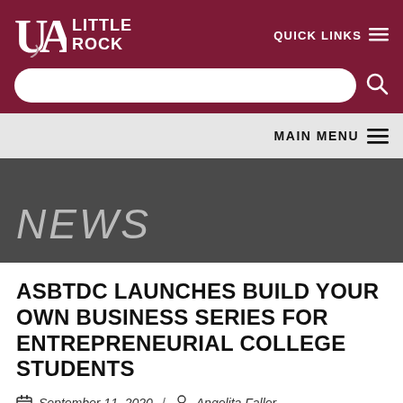UA Little Rock
QUICK LINKS
MAIN MENU
NEWS
ASBTDC LAUNCHES BUILD YOUR OWN BUSINESS SERIES FOR ENTREPRENEURIAL COLLEGE STUDENTS
September 11, 2020 / Angelita Faller